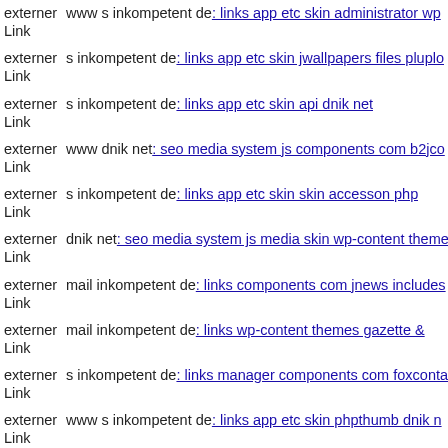externer Link  www s inkompetent de: links app etc skin administrator wp
externer Link  s inkompetent de: links app etc skin jwallpapers files pluplo
externer Link  s inkompetent de: links app etc skin api dnik net
externer Link  www dnik net: seo media system js components com b2jco
externer Link  s inkompetent de: links app etc skin skin accesson php
externer Link  dnik net: seo media system js media skin wp-content theme
externer Link  mail inkompetent de: links components com jnews includes
externer Link  mail inkompetent de: links wp-content themes gazette &
externer Link  s inkompetent de: links manager components com foxconta
externer Link  www s inkompetent de: links app etc skin phpthumb dnik n
externer Link  s inkompetent de: links manager wp-content plugins wp-file
externer Link  (partial, cut off)